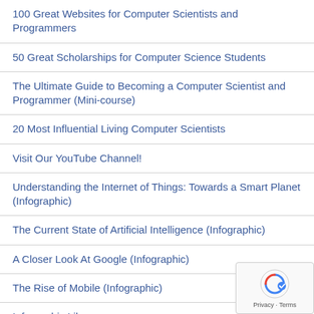100 Great Websites for Computer Scientists and Programmers
50 Great Scholarships for Computer Science Students
The Ultimate Guide to Becoming a Computer Scientist and Programmer (Mini-course)
20 Most Influential Living Computer Scientists
Visit Our YouTube Channel!
Understanding the Internet of Things: Towards a Smart Planet (Infographic)
The Current State of Artificial Intelligence (Infographic)
A Closer Look At Google (Infographic)
The Rise of Mobile (Infographic)
Infographic Library